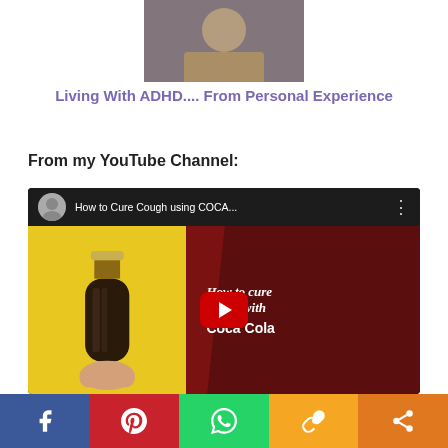[Figure (photo): Partial photo of a person, cropped at top of page]
Living With ADHD.... From Personal Experience
From my YouTube Channel:
[Figure (screenshot): YouTube video thumbnail: 'How to Cure Cough using COCA...' showing a Coca-Cola bottle on yellow background with red play button and text 'How to cure cough with Coca Cola']
[Figure (infographic): Social media share bar with Facebook, Pinterest, WhatsApp, Copy Link, and Share buttons]